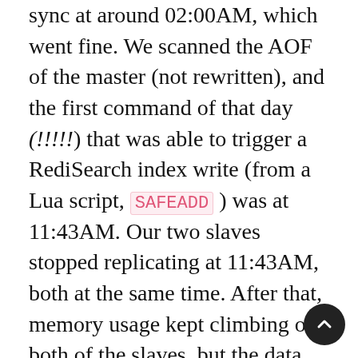sync at around 02:00AM, which went fine. We scanned the AOF of the master (not rewritten), and the first command of that day (!!!!!) that was able to trigger a RediSearch index write (from a Lua script, SAFEADD ) was at 11:43AM. Our two slaves stopped replicating at 11:43AM, both at the same time. After that, memory usage kept climbing on both of the slaves, but the data was stale, and rdb_changes_since_last_save stopped rising (and